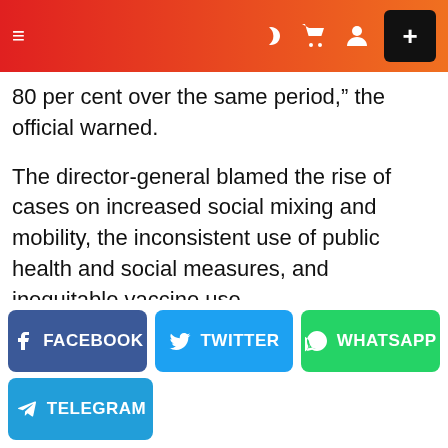Navigation bar with menu icon, dark mode, cart, user icons, and plus button
80 per cent over the same period,” the official warned.
The director-general blamed the rise of cases on increased social mixing and mobility, the inconsistent use of public health and social measures, and inequitable vaccine use.
He said “hard-won gains” were in jeopardy or being
[Figure (other): Social share buttons: Facebook, Twitter, WhatsApp, Telegram]